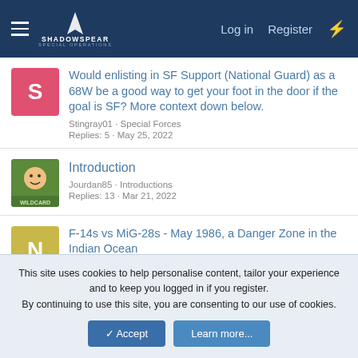ShadowSpear Special Operations — Log in | Register
Would enlisting in SF Support (National Guard) as a 68W be a good way to get your foot in the door if the goal is SF? More context down below. — Stingray01 · Special Forces — Replies: 5 · May 25, 2022
Introduction — Jourdan85 · Introductions — Replies: 13 · Mar 21, 2022
F-14s vs MiG-28s - May 1986, a Danger Zone in the Indian Ocean — nobodythank you · General Discussion — Replies: 3 · Apr 5, 2022
This site uses cookies to help personalise content, tailor your experience and to keep you logged in if you register.
By continuing to use this site, you are consenting to our use of cookies.